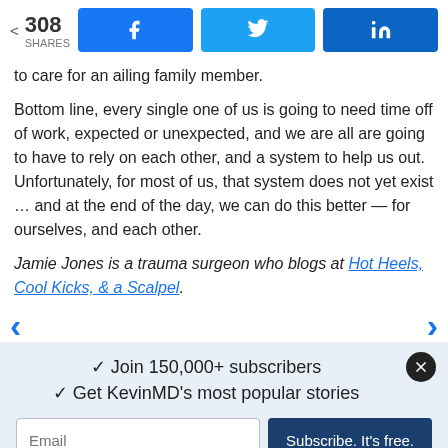308 SHARES | Facebook | Twitter | LinkedIn
to care for an ailing family member.
Bottom line, every single one of us is going to need time off of work, expected or unexpected, and we are all are going to have to rely on each other, and a system to help us out.  Unfortunately, for most of us, that system does not yet exist … and at the end of the day, we can do this better — for ourselves, and each other.
Jamie Jones is a trauma surgeon who blogs at Hot Heels, Cool Kicks, & a Scalpel.
✓ Join 150,000+ subscribers
✓ Get KevinMD's most popular stories
Email | Subscribe. It's free.